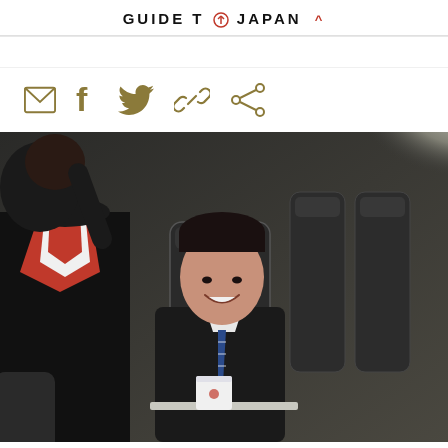GUIDE TO JAPAN ^
[Figure (illustration): Social sharing icons row: email (envelope), Facebook (f), Twitter (bird), link (chain), share icons in gold/dark gold color]
[Figure (photo): Airplane cabin interior: a smiling Asian businessman in a dark suit with a blue striped tie sits in a business class seat holding a white cup on a tray, while a flight attendant in a black uniform with a red and white striped scarf is seen from behind in the foreground. The background shows more dark business class seats.]